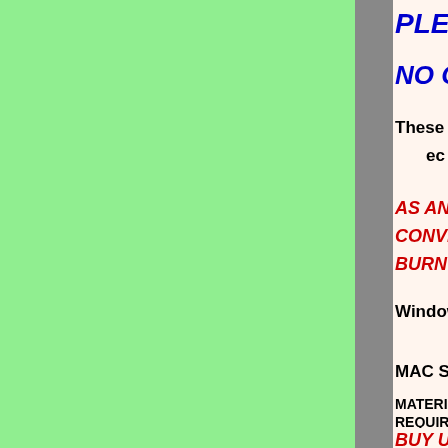PLEASE
NO ONE OFFERS
These are all in the MP3 format th
ec
AS AND ADDED BONUS CONVERTER SOFTWARE PR BURN ONTO C
Windows System Requirements:
MAC System Requirements:
MATERIALS ARE IN MP3 FOR REQUIREMENTS AS STATED A
BUY USA